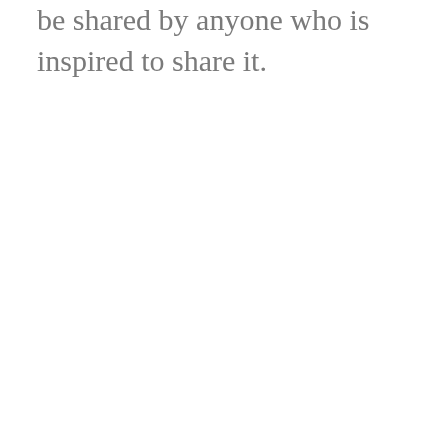be shared by anyone who is inspired to share it.